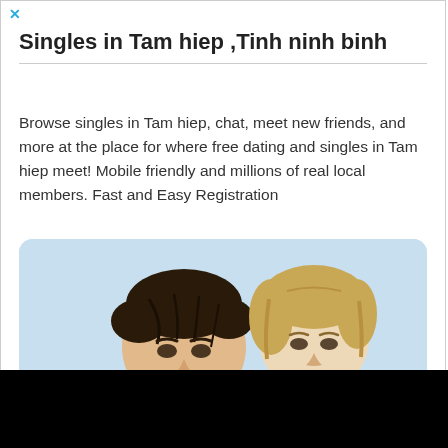✕
Singles in Tam hiep ,Tinh ninh binh
Browse singles in Tam hiep, chat, meet new friends, and more at the place for where free dating and singles in Tam hiep meet! Mobile friendly and millions of real local members. Fast and Easy Registration
[Figure (photo): Photo of a young couple, man with dark hair in front, woman with blonde hair behind, smiling, on a light blue background]
✕